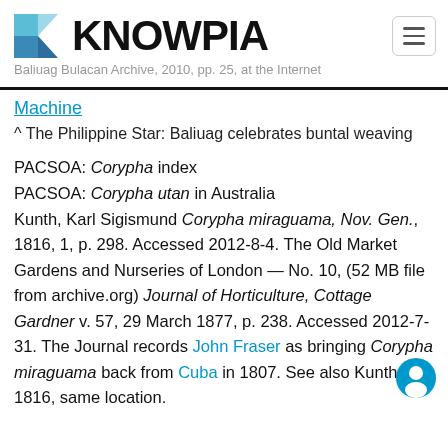KNOWPIA
Machine
^ The Philippine Star: Baliuag celebrates buntal weaving
PACSOA: Corypha index
PACSOA: Corypha utan in Australia
Kunth, Karl Sigismund Corypha miraguama, Nov. Gen., 1816, 1, p. 298. Accessed 2012-8-4. The Old Market Gardens and Nurseries of London — No. 10, (52 MB file from archive.org) Journal of Horticulture, Cottage Gardner v. 57, 29 March 1877, p. 238. Accessed 2012-7-31. The Journal records John Fraser as bringing Corypha miraguama back from Cuba in 1807. See also Kunth, 1816, same location.